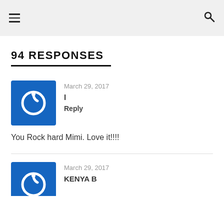≡   🔍
94 RESPONSES
March 29, 2017 | Reply — You Rock hard Mimi. Love it!!!!
March 29, 2017 KENYA B